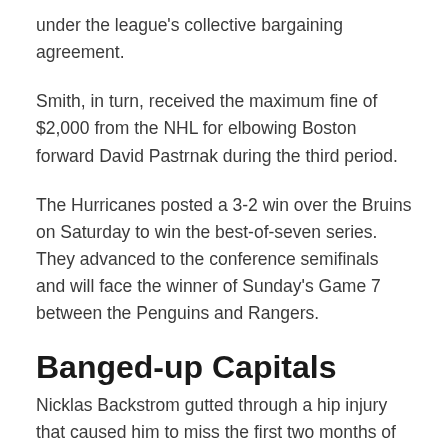under the league's collective bargaining agreement.
Smith, in turn, received the maximum fine of $2,000 from the NHL for elbowing Boston forward David Pastrnak during the third period.
The Hurricanes posted a 3-2 win over the Bruins on Saturday to win the best-of-seven series. They advanced to the conference semifinals and will face the winner of Sunday's Game 7 between the Penguins and Rangers.
Banged-up Capitals
Nicklas Backstrom gutted through a hip injury that caused him to miss the first two months of the season, and Tom Wilson as hard as he tried couldn't do the same in the playoffs on a bad knee.